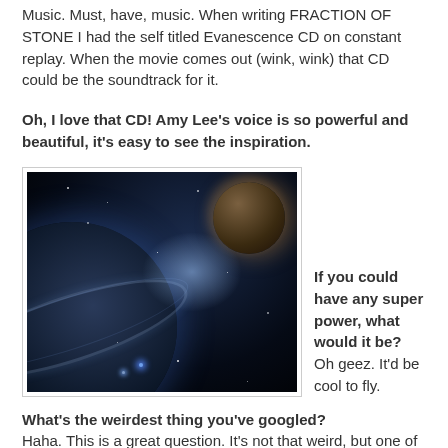Music. Must, have, music. When writing FRACTION OF STONE I had the self titled Evanescence CD on constant replay. When the movie comes out (wink, wink) that CD could be the soundtrack for it.
Oh, I love that CD! Amy Lee's voice is so powerful and beautiful, it's easy to see the inspiration.
[Figure (photo): A space scene showing a large ringed planet on the left with a glowing blue-white light between it and a smaller brownish planet in the upper right, set against a dark starry background.]
If you could have any super power, what would it be? Oh geez. It'd be cool to fly.
What's the weirdest thing you've googled? Haha. This is a great question. It's not that weird, but one of my MS has a lot to do with Space, of which I know little to